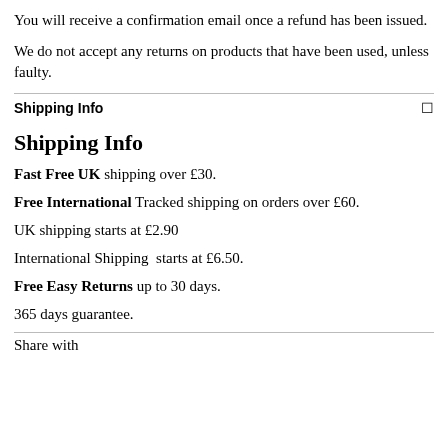You will receive a confirmation email once a refund has been issued.
We do not accept any returns on products that have been used, unless faulty.
Shipping Info
Shipping Info
Fast Free UK shipping over £30.
Free International Tracked shipping on orders over £60.
UK shipping starts at £2.90
International Shipping  starts at £6.50.
Free Easy Returns up to 30 days.
365 days guarantee.
Share with